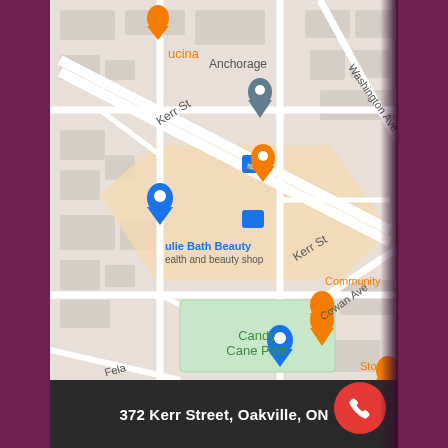[Figure (map): Google Maps screenshot showing Kerr Street area in Oakville, ON. Landmarks visible include The Salvation Army Thrift Store (blue pin), Julie Bath Beauty health and beauty shop (blue pin), Community (orange restaurant pin), Anchorage (gray location pin), Candy Cane Park (green label), Vereda Centre Coffee Roasters (blue pin), Stone (orange restaurant pin), bus stop icons, and street labels including Kerr St, Washington Ave, Cowan Ave, and Fela road.]
372 Kerr Street, Oakville, ON